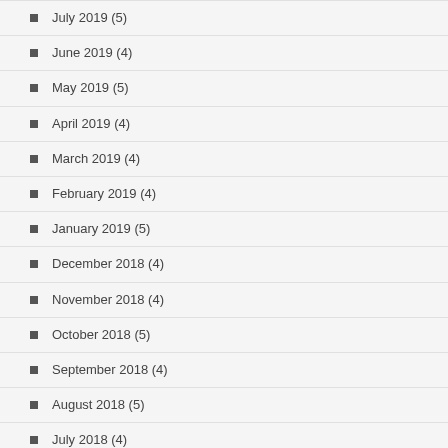July 2019 (5)
June 2019 (4)
May 2019 (5)
April 2019 (4)
March 2019 (4)
February 2019 (4)
January 2019 (5)
December 2018 (4)
November 2018 (4)
October 2018 (5)
September 2018 (4)
August 2018 (5)
July 2018 (4)
June 2018 (4)
May 2018 (5)